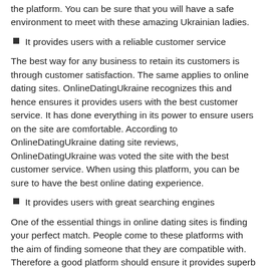the platform. You can be sure that you will have a safe environment to meet with these amazing Ukrainian ladies.
It provides users with a reliable customer service
The best way for any business to retain its customers is through customer satisfaction. The same applies to online dating sites. OnlineDatingUkraine recognizes this and hence ensures it provides users with the best customer service. It has done everything in its power to ensure users on the site are comfortable. According to OnlineDatingUkraine dating site reviews, OnlineDatingUkraine was voted the site with the best customer service. When using this platform, you can be sure to have the best online dating experience.
It provides users with great searching engines
One of the essential things in online dating sites is finding your perfect match. People come to these platforms with the aim of finding someone that they are compatible with. Therefore a good platform should ensure it provides superb searching engines to users.